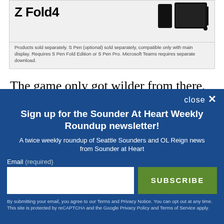[Figure (other): Samsung Galaxy Z Fold4 advertisement with device image and S Pen]
Products sold separately. S Pen (optional) sold separately, compatible only with main display. Requires S Pen Fold Edition or S Pen Pro. Microsoft Teams requires separate download.
The game only got wilder from there, as Los Dos equalized in the 81' minute after F. Lopez brought down a cross in the box with his arm. None of the
close ✕
Sign up for the Sounder At Heart Weekly Roundup newsletter!
A twice weekly roundup of Seattle Sounders and OL Reign news from Sounder at Heart
Email (required)
SUBSCRIBE
By submitting your email, you agree to our Terms and Privacy Notice. You can opt out at any time. This site is protected by reCAPTCHA and the Google Privacy Policy and Terms of Service apply.